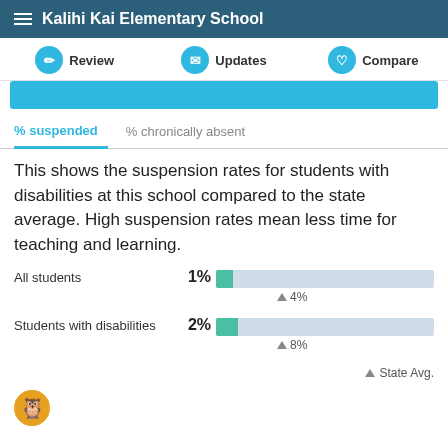Kalihi Kai Elementary School
Review   Updates   Compare
% suspended   % chronically absent
This shows the suspension rates for students with disabilities at this school compared to the state average. High suspension rates mean less time for teaching and learning.
[Figure (bar-chart): Suspension Rates]
State Avg.